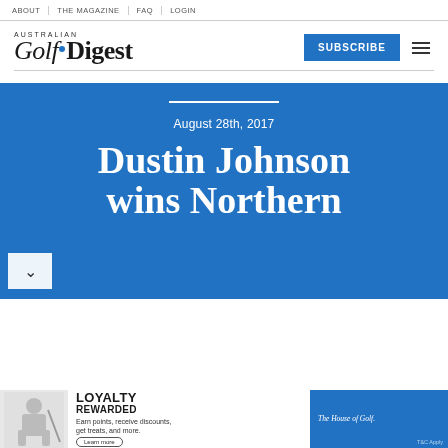ABOUT | THE MAGAZINE | FAQ | LOGIN
[Figure (logo): Australian Golf Digest logo with blue dot between Golf and Digest wordmark]
SUBSCRIBE
August 28th, 2017

Dustin Johnson wins Northern
[Figure (infographic): Loyalty Rewarded advertisement banner for The House of Golf]